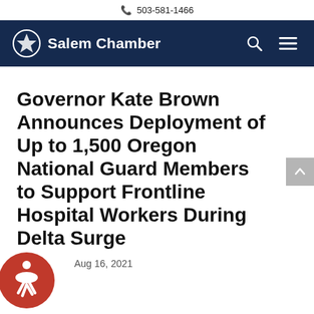503-581-1466
[Figure (logo): Salem Chamber logo with circular emblem and text 'Salem Chamber' on dark navy navigation bar]
Governor Kate Brown Announces Deployment of Up to 1,500 Oregon National Guard Members to Support Frontline Hospital Workers During Delta Surge
Aug 16, 2021